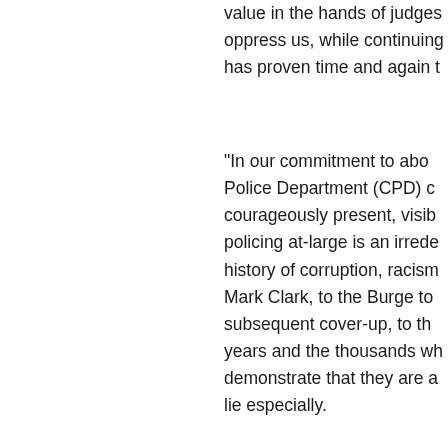value in the hands of judges who oppress us, while continuing has proven time and again t
“In our commitment to abo Police Department (CPD) c courageously present, visib policing at-large is an irrede history of corruption, racism Mark Clark, to the Burge to subsequent cover-up, to th years and the thousands wh demonstrate that they are a lie especially.